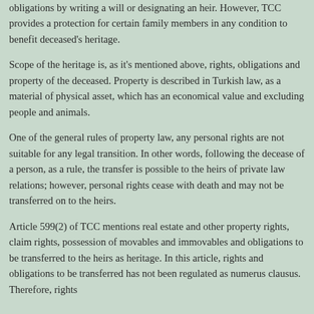obligations by writing a will or designating an heir. However, TCC provides a protection for certain family members in any condition to benefit deceased's heritage.
Scope of the heritage is, as it's mentioned above, rights, obligations and property of the deceased. Property is described in Turkish law, as a material of physical asset, which has an economical value and excluding people and animals.
One of the general rules of property law, any personal rights are not suitable for any legal transition. In other words, following the decease of a person, as a rule, the transfer is possible to the heirs of private law relations; however, personal rights cease with death and may not be transferred on to the heirs.
Article 599(2) of TCC mentions real estate and other property rights, claim rights, possession of movables and immovables and obligations to be transferred to the heirs as heritage. In this article, rights and obligations to be transferred has not been regulated as numerus clausus. Therefore, rights